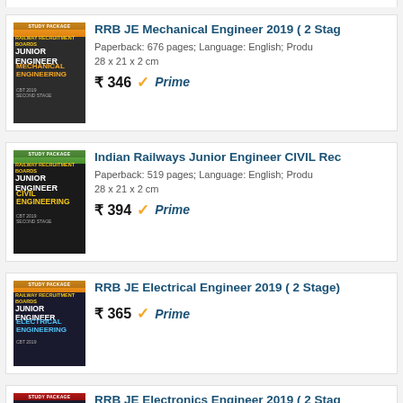[Figure (screenshot): Amazon product listing page showing engineering books for RRB JE exams]
RRB JE Mechanical Engineer 2019 ( 2 Stag...
Paperback: 676 pages; Language: English; Product Dimensions: 28 x 21 x 2 cm
₹ 346
Indian Railways Junior Engineer CIVIL Rec...
Paperback: 519 pages; Language: English; Product Dimensions: 28 x 21 x 2 cm
₹ 394
RRB JE Electrical Engineer 2019 ( 2 Stage)
₹ 365
RRB JE Electronics Engineer 2019 ( 2 Stag...